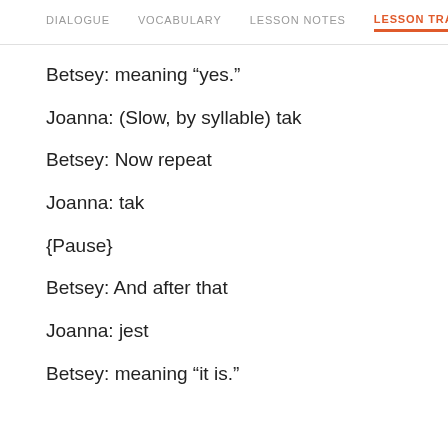DIALOGUE  VOCABULARY  LESSON NOTES  LESSON TRANSCRIPT
Betsey: meaning “yes.”
Joanna: (Slow, by syllable) tak
Betsey: Now repeat
Joanna: tak
{Pause}
Betsey: And after that
Joanna: jest
Betsey: meaning “it is.”